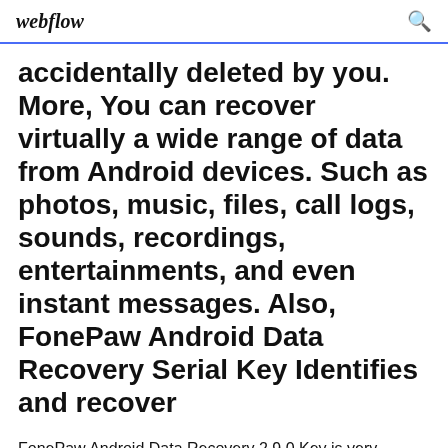webflow
accidentally deleted by you. More, You can recover virtually a wide range of data from Android devices. Such as photos, music, files, call logs, sounds, recordings, entertainments, and even instant messages. Also, FonePaw Android Data Recovery Serial Key Identifies and recover
FonePaw Android Data Recovery 2.9.0 Key is very efficient software who works very smoothly. After the installation & running process, it detects all the deleted & lost files